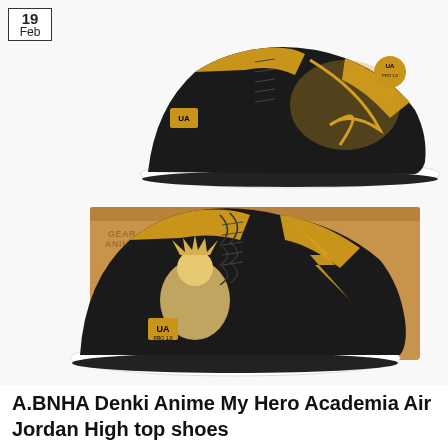[Figure (photo): Product photo showing two custom anime-themed high-top sneakers (Jordan style) in black and gold with lightning bolt designs and anime character (Denki from My Hero Academia) graphics, displayed with a tan Gear Anime branded shoe box]
A.BNHA Denki Anime My Hero Academia Air Jordan High top shoes